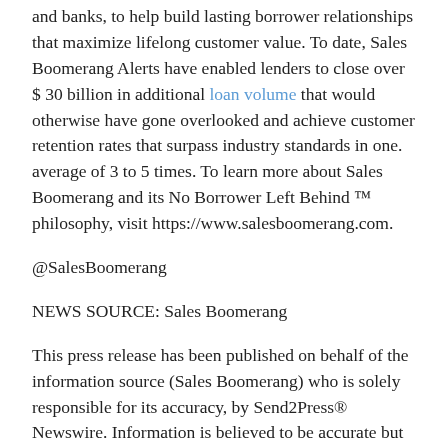and banks, to help build lasting borrower relationships that maximize lifelong customer value. To date, Sales Boomerang Alerts have enabled lenders to close over $ 30 billion in additional loan volume that would otherwise have gone overlooked and achieve customer retention rates that surpass industry standards in one. average of 3 to 5 times. To learn more about Sales Boomerang and its No Borrower Left Behind ™ philosophy, visit https://www.salesboomerang.com.
@SalesBoomerang
NEWS SOURCE: Sales Boomerang
This press release has been published on behalf of the information source (Sales Boomerang) who is solely responsible for its accuracy, by Send2Press® Newswire. Information is believed to be accurate but is not guaranteed. Story ID: 73673 APDF-R8.2